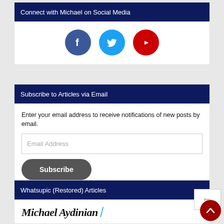Connect with Michael on Social Media
[Figure (illustration): Three social media icon circles: Facebook (dark blue), Twitter (light blue), YouTube (red)]
Subscribe to Articles via Email
Enter your email address to receive notifications of new posts by email.
Email Address
Subscribe
Whatsupic (Restored) Articles
[Figure (logo): Michael Aydinian logo with italic serif text and a blue diagonal slash]